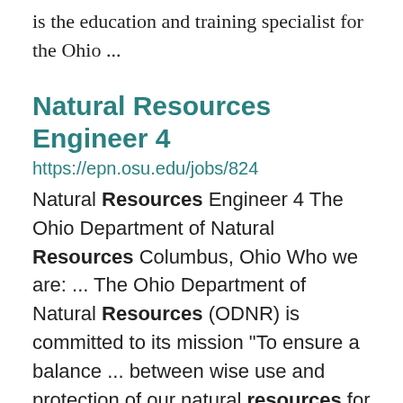is the education and training specialist for the Ohio ...
Natural Resources Engineer 4
https://epn.osu.edu/jobs/824
Natural Resources Engineer 4 The Ohio Department of Natural Resources Columbus, Ohio Who we are: ... The Ohio Department of Natural Resources (ODNR) is committed to its mission “To ensure a balance ... between wise use and protection of our natural resources for the benefit of all.” Our agency embraces the ...